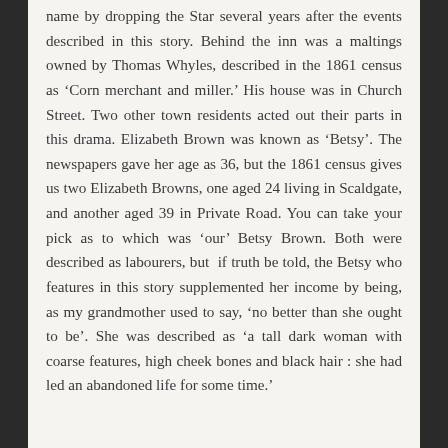name by dropping the Star several years after the events described in this story. Behind the inn was a maltings owned by Thomas Whyles, described in the 1861 census as ‘Corn merchant and miller.’ His house was in Church Street. Two other town residents acted out their parts in this drama. Elizabeth Brown was known as ‘Betsy’. The newspapers gave her age as 36, but the 1861 census gives us two Elizabeth Browns, one aged 24 living in Scaldgate, and another aged 39 in Private Road. You can take your pick as to which was ‘our’ Betsy Brown. Both were described as labourers, but if truth be told, the Betsy who features in this story supplemented her income by being, as my grandmother used to say, ‘no better than she ought to be’. She was described as ‘a tall dark woman with coarse features, high cheek bones and black hair : she had led an abandoned life for some time.’